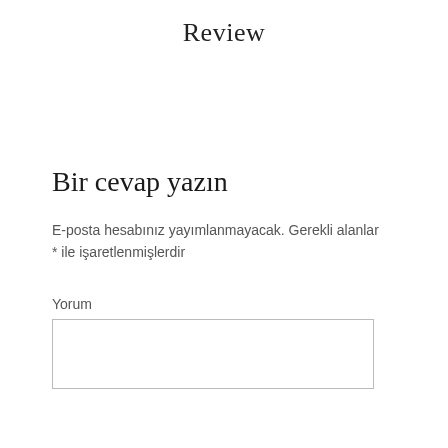Review
Bir cevap yazın
E-posta hesabınız yayımlanmayacak. Gerekli alanlar * ile işaretlenmişlerdir
Yorum